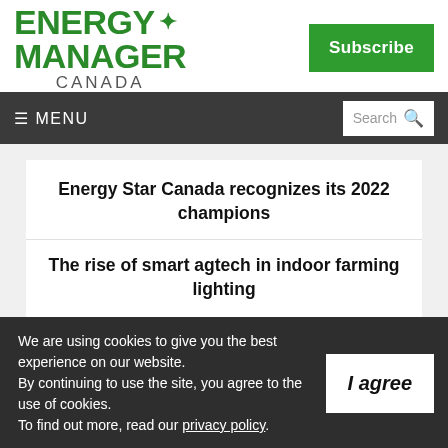[Figure (logo): Energy Manager Canada logo with green maple leaf and Subscribe button]
≡ MENU    Search 🔍
Energy Star Canada recognizes its 2022 champions
The rise of smart agtech in indoor farming lighting
We are using cookies to give you the best experience on our website. By continuing to use the site, you agree to the use of cookies. To find out more, read our privacy policy.